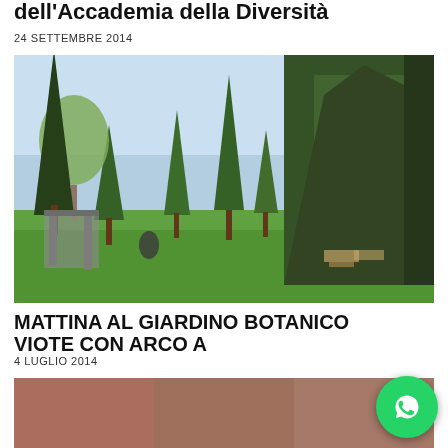dell'Accademia della Diversità
24 SETTEMBRE 2014
[Figure (photo): Outdoor landscape photo showing a green meadow with tall conifer trees (spruce/fir) on the right side, deciduous trees in background, blue sky, and a small playground or structure on the left side. Picnic tables visible in the background.]
MATTINA AL GIARDINO BOTANICO VIOTE CON ARCO A
4 LUGLIO 2014
[Figure (photo): Partially visible photo at the bottom of the page, cropped.]